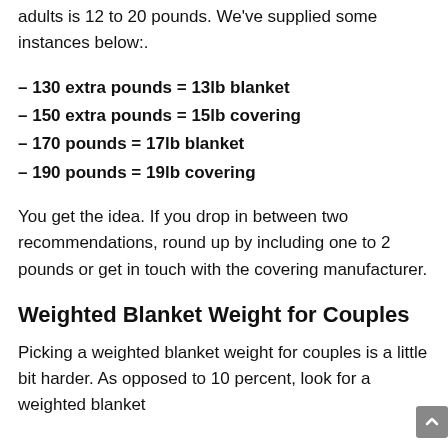adults is 12 to 20 pounds. We've supplied some instances below:.
– 130 extra pounds = 13lb blanket
– 150 extra pounds = 15lb covering
– 170 pounds = 17lb blanket
– 190 pounds = 19lb covering
You get the idea. If you drop in between two recommendations, round up by including one to 2 pounds or get in touch with the covering manufacturer.
Weighted Blanket Weight for Couples
Picking a weighted blanket weight for couples is a little bit harder. As opposed to 10 percent, look for a weighted blanket